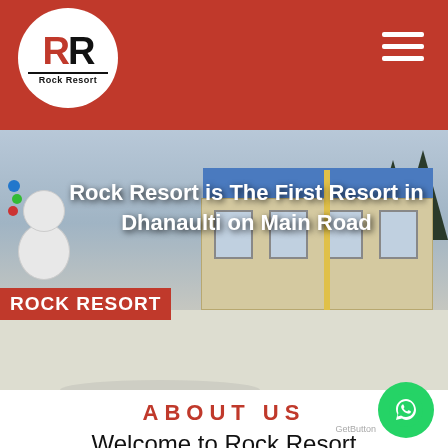Rock Resort - navigation header with logo and hamburger menu
[Figure (photo): Hero banner photo of Rock Resort in Dhanaulti covered in snow, showing the resort building with blue roof, a snowman on the left, and a Rock Resort sign. Snow-covered ground in foreground.]
Rock Resort is The First Resort in Dhanaulti on Main Road
ABOUT US
Welcome to Rock Resort